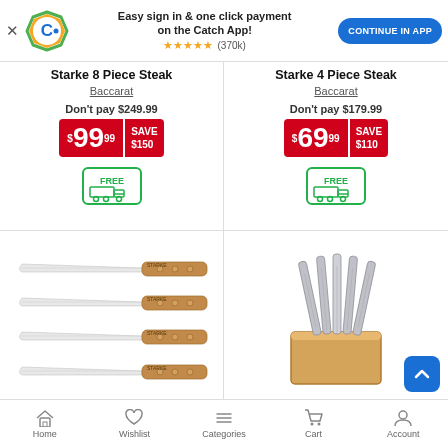[Figure (screenshot): Catch app promotional banner with logo, text 'Easy sign in & one click payment on the Catch App!', star rating (370k reviews), and blue 'CONTINUE IN APP' button]
Starke 8 Piece Steak
Baccarat
Don't pay $249.99
$99.99 SAVE $150
[Figure (illustration): Green FREE delivery truck icon]
Starke 4 Piece Steak
Baccarat
Don't pay $179.99
$69.99 SAVE $110
[Figure (illustration): Green FREE delivery truck icon]
[Figure (photo): Four steak knives with wooden handles arranged horizontally]
[Figure (photo): Knife block set with stainless steel knives in a wooden block]
[Figure (illustration): Bottom navigation bar with Home, Wishlist, Categories, Cart, Account icons]